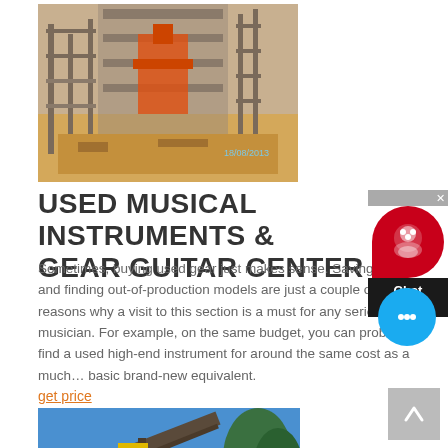[Figure (photo): Construction site with scaffolding and machinery, orange/red machinery visible, date stamp 18/08/2013]
USED MUSICAL INSTRUMENTS & GEAR GUITAR CENTER
Sometimes, buying used gear just makes sense. Saving money and finding out-of-production models are just a couple of reasons why a visit to this section is a must for any serious musician. For example, on the same budget, you can probably find a used high-end instrument for around the same cost as a much more basic brand-new equivalent.
get price
[Figure (photo): Construction site with conveyor belt and machinery against blue sky with trees]